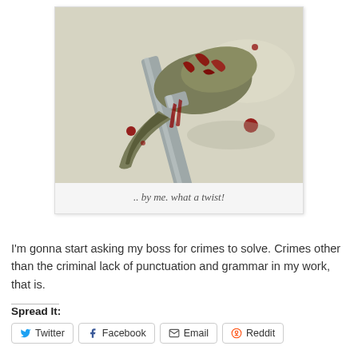[Figure (photo): Polaroid-style photo of a bloody hammer head on a light surface, with blood spatters around it. Caption reads '.. by me. what a twist!']
.. by me. what a twist!
I'm gonna start asking my boss for crimes to solve. Crimes other than the criminal lack of punctuation and grammar in my work, that is.
Spread It:
Twitter
Facebook
Email
Reddit